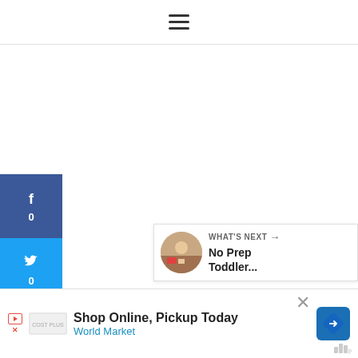[Figure (screenshot): Hamburger menu icon (three horizontal lines) in top navigation bar]
[Figure (screenshot): Social share sidebar with Facebook (0), Twitter (0), Pinterest (31), and Email buttons]
31
SHARES
[Figure (screenshot): Heart/like button (teal circle) with count 32 and share button below]
[Figure (screenshot): What's Next promo: No Prep Toddler... with circular thumbnail]
[Figure (screenshot): Advertisement banner: Shop Online, Pickup Today - World Market]